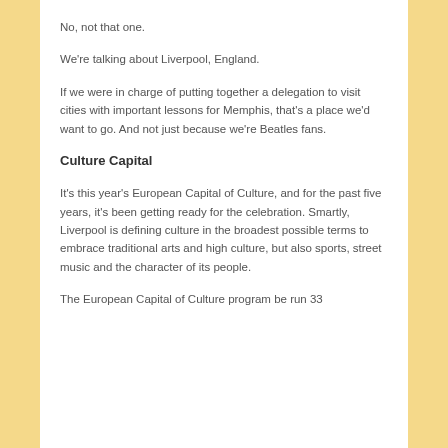No, not that one.
We're talking about Liverpool, England.
If we were in charge of putting together a delegation to visit cities with important lessons for Memphis, that's a place we'd want to go. And not just because we're Beatles fans.
Culture Capital
It's this year's European Capital of Culture, and for the past five years, it's been getting ready for the celebration. Smartly, Liverpool is defining culture in the broadest possible terms to embrace traditional arts and high culture, but also sports, street music and the character of its people.
The European Capital of Culture program be run 33